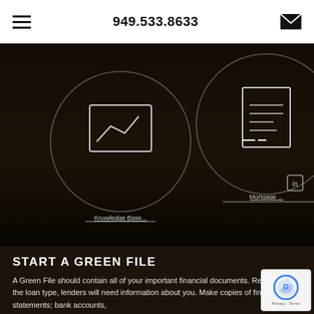949.533.8633
[Figure (screenshot): Dark overlay kitchen photo with circular navigation icons for Knowledge Base and other sections, containing line-art icons of a chart/graph and a document, with underlined text labels below each circle]
START A GREEN FILE
A Green File should contain all of your important financial documents. Regardless of the loan type, lenders will need information about you. Make copies of financial statements; bank accounts,